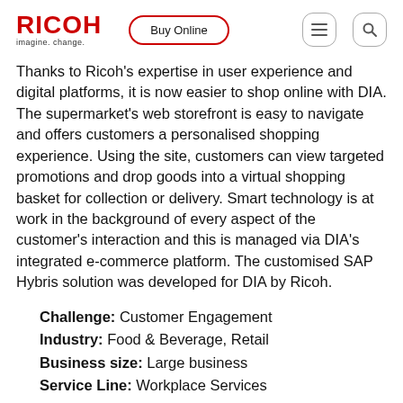RICOH imagine. change. | Buy Online
Thanks to Ricoh's expertise in user experience and digital platforms, it is now easier to shop online with DIA. The supermarket's web storefront is easy to navigate and offers customers a personalised shopping experience. Using the site, customers can view targeted promotions and drop goods into a virtual shopping basket for collection or delivery. Smart technology is at work in the background of every aspect of the customer's interaction and this is managed via DIA's integrated e-commerce platform. The customised SAP Hybris solution was developed for DIA by Ricoh.
Challenge: Customer Engagement
Industry: Food & Beverage, Retail
Business size: Large business
Service Line: Workplace Services